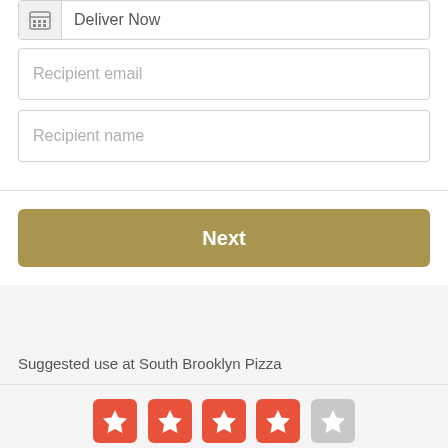Deliver Now
Recipient email
Recipient name
Next
Suggested use at South Brooklyn Pizza
[Figure (infographic): Four star rating icons: four filled orange-red stars and one empty gray star, indicating a 4 out of 5 star rating]